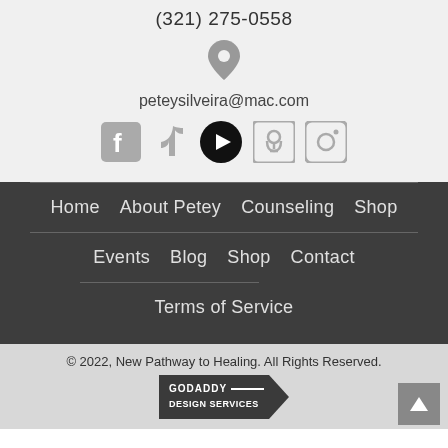(321) 275-0558
[Figure (illustration): Location pin icon in gray]
peteysilveira@mac.com
[Figure (illustration): Social media icons: Facebook, TikTok, YouTube (black circle), Podcast, Instagram]
Home   About Petey   Counseling   Shop
Events   Blog   Shop   Contact
Terms of Service
© 2022, New Pathway to Healing. All Rights Reserved.
[Figure (logo): GoDaddy Design Services badge]